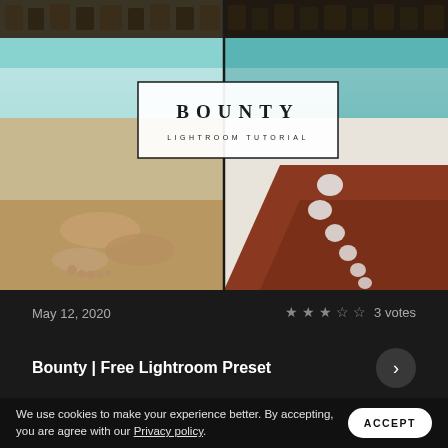[Figure (photo): Before/after comparison photo of a beach scene split vertically. Left side shows a lighter, warmer-toned photo of person's feet on sandy beach with turquoise water and beach huts in background. Right side shows a darker, more contrasty edit with person's tanned legs with white sunscreen dots, same beach background. A vertical line divides the two halves. Overlay box in center reads 'BOUNTY LIGHTROOM TUTORIAL'.]
May 12, 2020
3 votes
Bounty | Free Lightroom Preset
We use cookies to make your experience better. By accepting, you are agree with our Privacy policy.